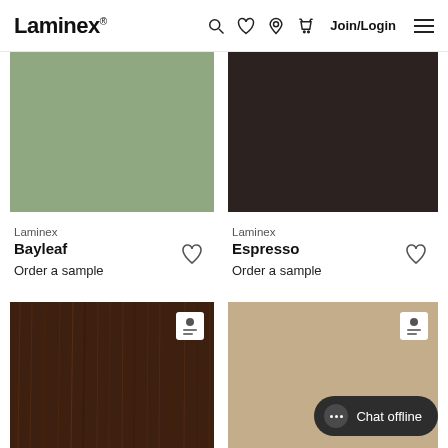Laminex — Join/Login navigation header
[Figure (illustration): Bayleaf color swatch — muted sage green solid color panel]
[Figure (illustration): Espresso color swatch — very dark brown/near-black solid color panel]
Laminex
Bayleaf
Order a sample
Laminex
Espresso
Order a sample
[Figure (photo): Walnut wood grain texture swatch — dark warm brown with vertical wood grain lines]
[Figure (illustration): Sand/tan solid color swatch — light beige/khaki panel]